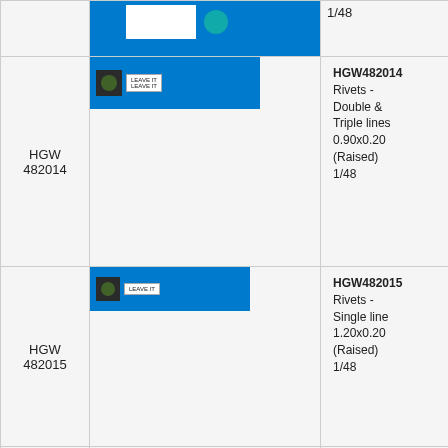| Product Code | Image | Description |
| --- | --- | --- |
|  |  | 1/48 |
| HGW 482014 | [product image] | HGW482014 Rivets - Double & Triple lines 0.90x0.20 (Raised) 1/48 |
| HGW 482015 | [product image] | HGW482015 Rivets - Single line 1.20x0.20 (Raised) 1/48 |
| HGW 482016 |  | HGW482016 Rivets - OVAL Shapes 1/48 |
| HGW 482017 |  | HGW482017 Rivets - OBLONG Shapes 1/48 |